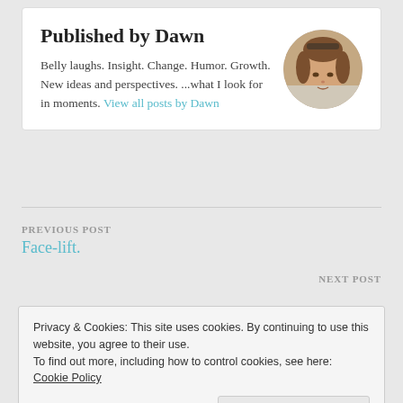Published by Dawn
Belly laughs. Insight. Change. Humor. Growth. New ideas and perspectives. ...what I look for in moments. View all posts by Dawn
[Figure (photo): Circular portrait photo of Dawn, a woman with brown hair and sunglasses on her head]
PREVIOUS POST
Face-lift.
NEXT POST
Privacy & Cookies: This site uses cookies. By continuing to use this website, you agree to their use.
To find out more, including how to control cookies, see here: Cookie Policy
Close and accept